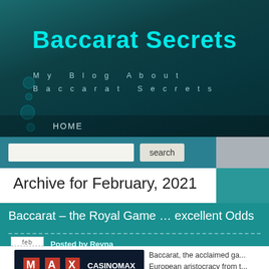Baccarat Secrets
My Blog About Baccarat Secrets
HOME
search
Archive for February, 2021
Baccarat – the Royal Game … excellent Odds
Posted by Reyna
Filed in Baccarat
[Figure (logo): MAX CASINOMAX casino logo on dark background]
Baccarat, the acclaimed ga... European aristocracy from t...